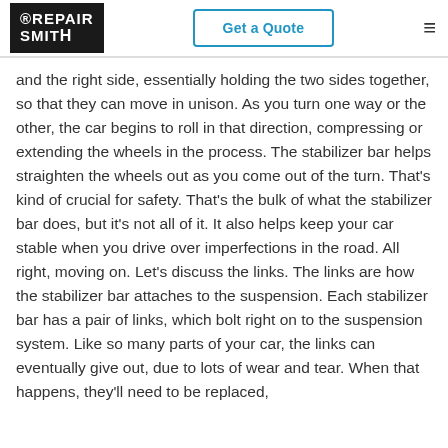RepairSmith | Get a Quote
and the right side, essentially holding the two sides together, so that they can move in unison. As you turn one way or the other, the car begins to roll in that direction, compressing or extending the wheels in the process. The stabilizer bar helps straighten the wheels out as you come out of the turn. That's kind of crucial for safety. That's the bulk of what the stabilizer bar does, but it's not all of it. It also helps keep your car stable when you drive over imperfections in the road. All right, moving on. Let's discuss the links. The links are how the stabilizer bar attaches to the suspension. Each stabilizer bar has a pair of links, which bolt right on to the suspension system. Like so many parts of your car, the links can eventually give out, due to lots of wear and tear. When that happens, they'll need to be replaced,